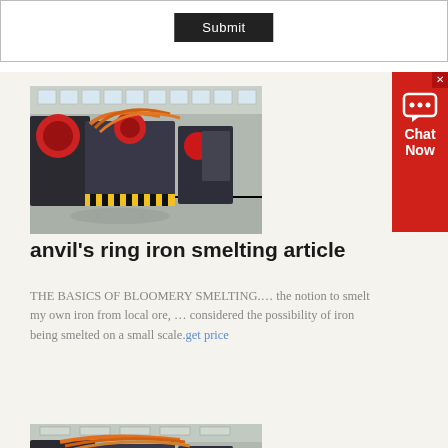[Figure (other): Submit button in a bordered form area at the top of the page]
[Figure (photo): Industrial smelting or mining machinery in a factory setting with large dark metal equipment and red/orange colored parts]
anvil's ring iron smelting article
THE BASICS OF BLOOMERY SMELTING.… the notion to smelt my own iron from local ore, … considered the possibility of iron being smelted on a small scale. get price
[Figure (photo): Second industrial machinery photo partially visible at bottom of page, similar factory setting]